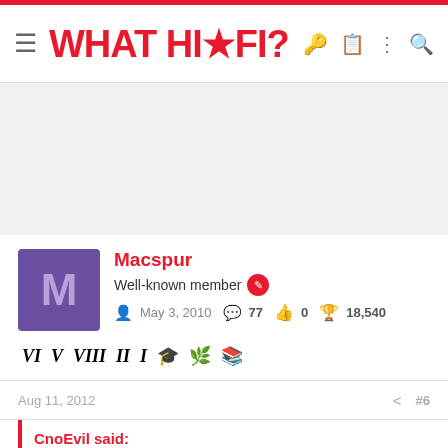WHAT HI*FI?
[Figure (other): Gray advertisement banner area]
Macspur
Well-known member
May 3, 2010  77  0  18,540
Aug 11, 2012  #6
CnoEvil said: